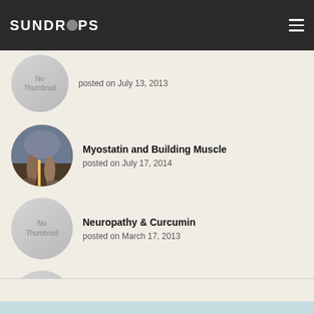SUNDROPS
[Figure (illustration): No Thumbnail placeholder circle for first post (partially visible, July 13 2013)]
posted on July 13, 2013
[Figure (photo): Circular thumbnail photo showing legs running on a road with cloudy sky]
Myostatin and Building Muscle
posted on July 17, 2014
[Figure (illustration): No Thumbnail placeholder circle]
Neuropathy & Curcumin
posted on March 17, 2013
[Figure (illustration): No Thumbnail placeholder circle]
B Vitamins May Reduce Stroke Risk
posted on October 7, 2013